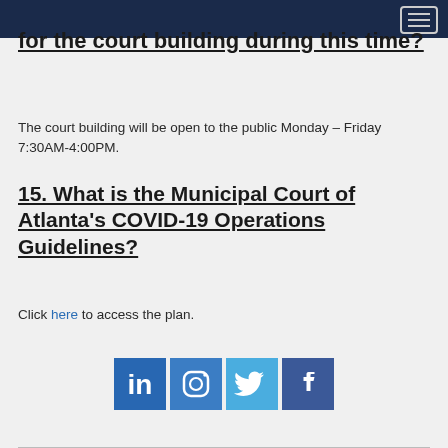for the court building during this time?
The court building will be open to the public Monday – Friday 7:30AM-4:00PM.
15. What is the Municipal Court of Atlanta's COVID-19 Operations Guidelines?
Click here to access the plan.
[Figure (infographic): Four social media icons: LinkedIn, Instagram, Twitter, Facebook]